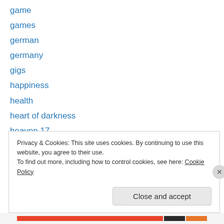game
games
german
germany
gigs
happiness
health
heart of darkness
heaven 17
history
Holland
humour
ideas
Privacy & Cookies: This site uses cookies. By continuing to use this website, you agree to their use. To find out more, including how to control cookies, see here: Cookie Policy
Close and accept